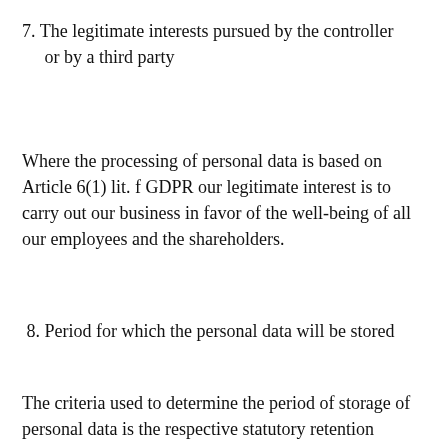7. The legitimate interests pursued by the controller or by a third party
Where the processing of personal data is based on Article 6(1) lit. f GDPR our legitimate interest is to carry out our business in favor of the well-being of all our employees and the shareholders.
8. Period for which the personal data will be stored
The criteria used to determine the period of storage of personal data is the respective statutory retention